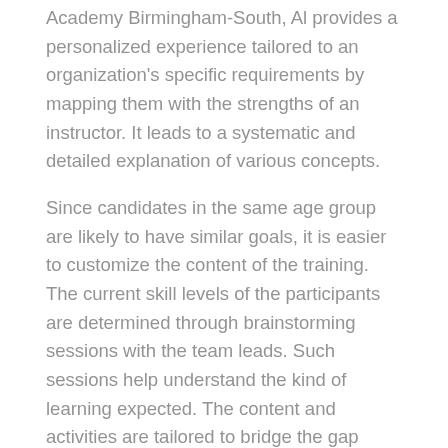Academy Birmingham-South, Al provides a personalized experience tailored to an organization's specific requirements by mapping them with the strengths of an instructor. It leads to a systematic and detailed explanation of various concepts.
Since candidates in the same age group are likely to have similar goals, it is easier to customize the content of the training. The current skill levels of the participants are determined through brainstorming sessions with the team leads. Such sessions help understand the kind of learning expected. The content and activities are tailored to bridge the gap between the current state and the desired level of knowledge.